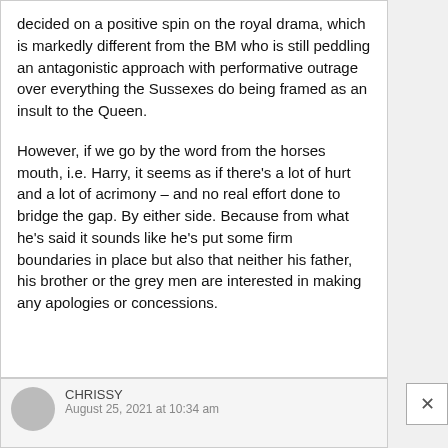decided on a positive spin on the royal drama, which is markedly different from the BM who is still peddling an antagonistic approach with performative outrage over everything the Sussexes do being framed as an insult to the Queen.

However, if we go by the word from the horses mouth, i.e. Harry, it seems as if there's a lot of hurt and a lot of acrimony – and no real effort done to bridge the gap. By either side. Because from what he's said it sounds like he's put some firm boundaries in place but also that neither his father, his brother or the grey men are interested in making any apologies or concessions.
CHRISSY
August 25, 2021 at 10:34 am